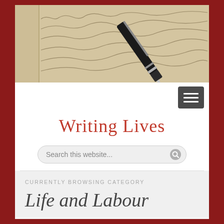[Figure (photo): A fountain pen resting on handwritten cursive script on aged paper, used as a website banner for Writing Lives.]
Writing Lives
Search this website...
CURRENTLY BROWSING CATEGORY
Life and Labour